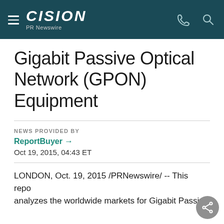CISION PR Newswire
Gigabit Passive Optical Network (GPON) Equipment
NEWS PROVIDED BY
ReportBuyer →
Oct 19, 2015, 04:43 ET
LONDON, Oct. 19, 2015 /PRNewswire/ -- This repo analyzes the worldwide markets for Gigabit Passive